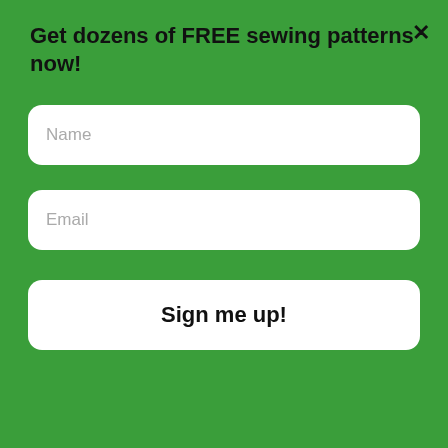Get dozens of FREE sewing patterns now!
Name
Email
Sign me up!
(click for image source)
WHAT'S NEXT → Three variations of...
✓ Drive-through  ✓ Delivery
CVS® Epic Beauty Sale